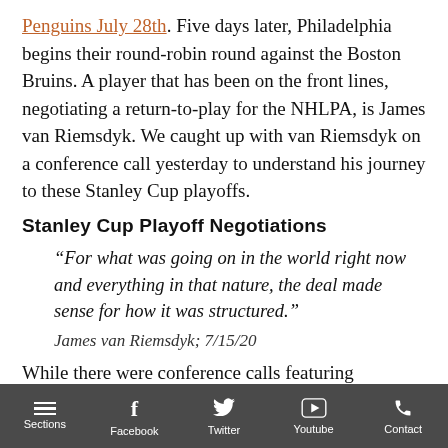Penguins July 28th. Five days later, Philadelphia begins their round-robin round against the Boston Bruins. A player that has been on the front lines, negotiating a return-to-play for the NHLPA, is James van Riemsdyk. We caught up with van Riemsdyk on a conference call yesterday to understand his journey to these Stanley Cup playoffs.
Stanley Cup Playoff Negotiations
“For what was going on in the world right now and everything in that nature, the deal made sense for how it was structured.”
James van Riemsdyk; 7/15/20
While there were conference calls featuring negotiations for the
Sections   Facebook   Twitter   Youtube   Contact